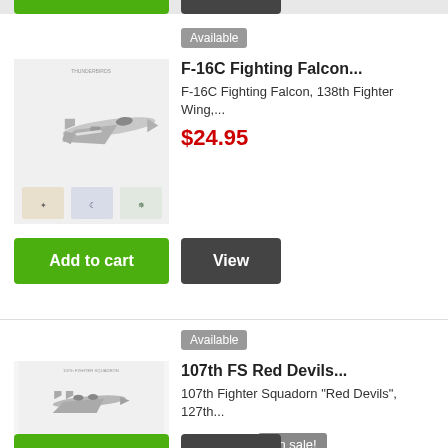[Figure (screenshot): Top of page showing partial green Add to cart button and partial dark View button from a previous product listing]
Available
[Figure (photo): F-16C Fighting Falcon aircraft product image with squadron patches/emblems below]
F-16C Fighting Falcon...
F-16C Fighting Falcon, 138th Fighter Wing,...
$24.95
Add to cart
View
Available
[Figure (photo): 107th FS Red Devils product image showing two aircraft and squadron patches]
107th FS Red Devils...
107th Fighter Squadorn "Red Devils", 127th...
$34.99
On sale!
[Figure (screenshot): Bottom of page showing partial green Add to cart button and partial dark button from next product listing]